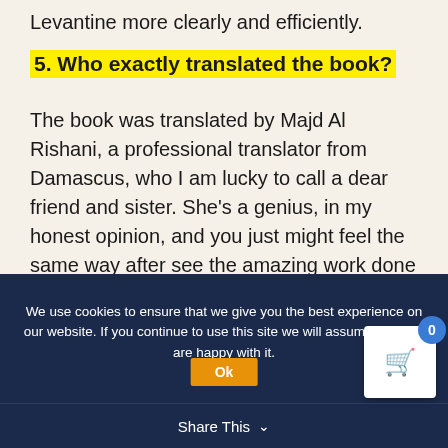Levantine more clearly and efficiently.
5. Who exactly translated the book?
The book was translated by Majd Al Rishani, a professional translator from Damascus, who I am lucky to call a dear friend and sister. She’s a genius, in my honest opinion, and you just might feel the same way after see the amazing work done to translate this book. You can find out more about her here.
Also, thank you to Amer Al Rafea, co-
We use cookies to ensure that we give you the best experience on our website. If you continue to use this site we will assume that you are happy with it.
Share This